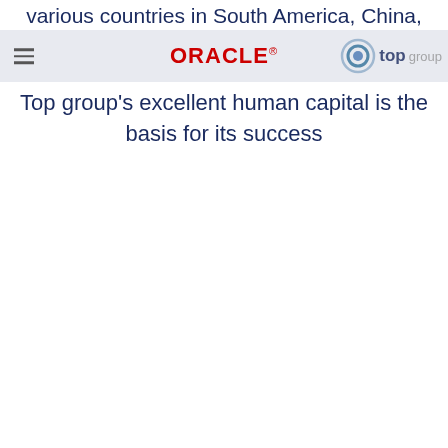various countries in South America, China, and India.
ORACLE® top group
Top group's excellent human capital is the basis for its success